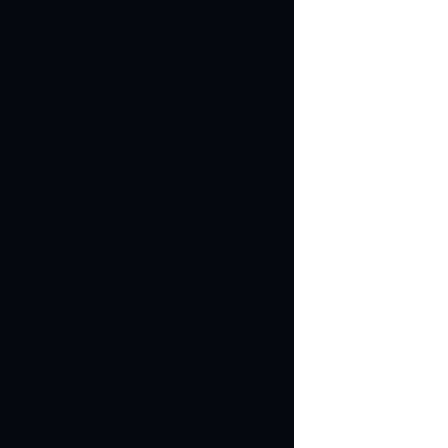[Figure (screenshot): Dark/black panel occupying the left ~65% of the page, likely a slide or presentation image]
Ignite: Dan Wilson fr
Get My Slide Deck
My slides are availab
6746 Views
Print
del.icio.us